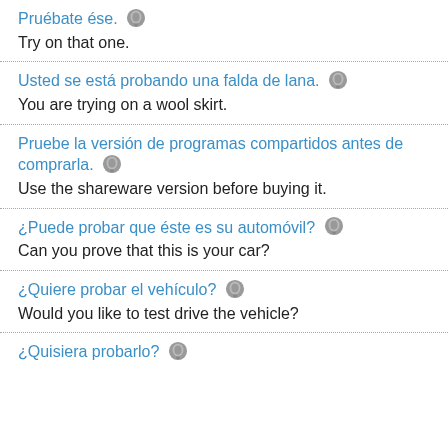Pruébate ése. [audio] / Try on that one.
Usted se está probando una falda de lana. [audio] / You are trying on a wool skirt.
Pruebe la versión de programas compartidos antes de comprarla. [audio] / Use the shareware version before buying it.
¿Puede probar que éste es su automóvil? [audio] / Can you prove that this is your car?
¿Quiere probar el vehículo? [audio] / Would you like to test drive the vehicle?
¿Quisiera probarlo? [audio]